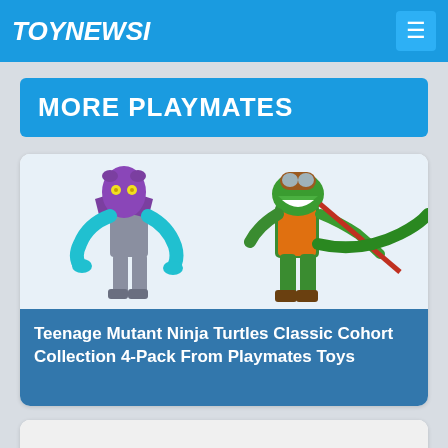TOYNEWSI
MORE PLAYMATES
[Figure (photo): Teenage Mutant Ninja Turtles action figures: purple alien robot figure on left, green lizard/crocodile figure with orange outfit and red staff on right, photographed on white background]
Teenage Mutant Ninja Turtles Classic Cohort Collection 4-Pack From Playmates Toys
[Figure (photo): A green turtle head with red bandana from Teenage Mutant Ninja Turtles action figure, partially visible at bottom of page]